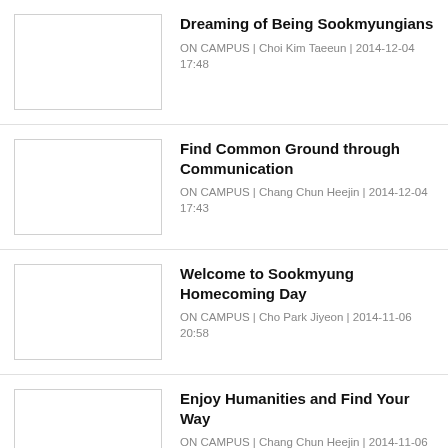Dreaming of Being Sookmyungians
ON CAMPUS | Choi Kim Taeeun | 2014-12-04 17:48
Find Common Ground through Communication
ON CAMPUS | Chang Chun Heejin | 2014-12-04 17:43
Welcome to Sookmyung Homecoming Day
ON CAMPUS | Cho Park Jiyeon | 2014-11-06 20:58
Enjoy Humanities and Find Your Way
ON CAMPUS | Chang Chun Heejin | 2014-11-06 20:53